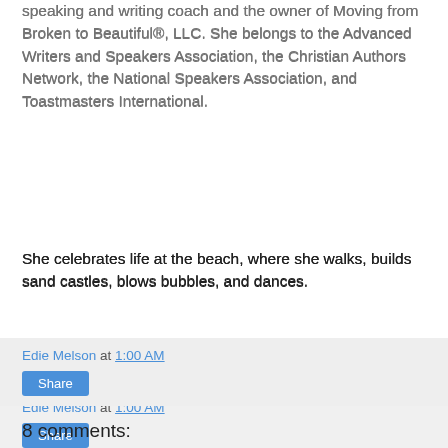speaking and writing coach and the owner of Moving from Broken to Beautiful®, LLC. She belongs to the Advanced Writers and Speakers Association, the Christian Authors Network, the National Speakers Association, and Toastmasters International.
She celebrates life at the beach, where she walks, builds sand castles, blows bubbles, and dances.
Edie Melson at 1:00 AM
Share
8 comments:
DiAnn  November 11, 2019 at 7:18 AM
Outstanding! Thanks for sharing your wisdom!
Reply
▼ Replies